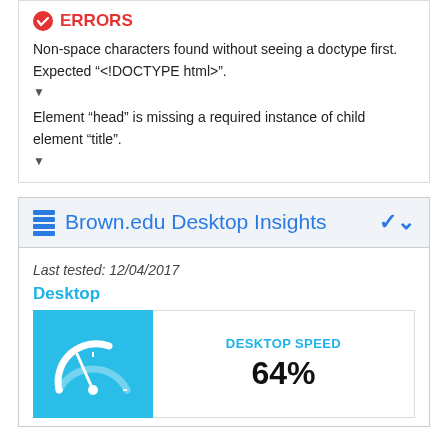ERRORS
Non-space characters found without seeing a doctype first. Expected “<!DOCTYPE html>”.
Element “head” is missing a required instance of child element “title”.
Brown.edu Desktop Insights
Last tested: 12/04/2017
Desktop
[Figure (infographic): Speedometer icon on blue background indicating desktop speed]
DESKTOP SPEED
64%